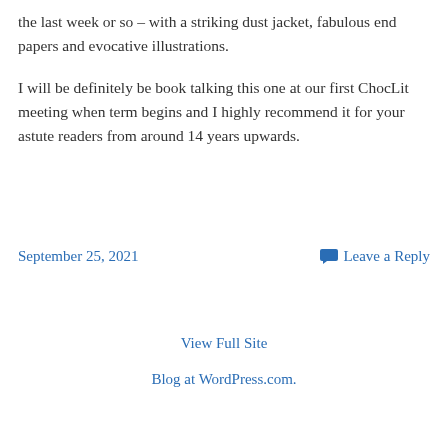the last week or so – with a striking dust jacket, fabulous end papers and evocative illustrations.
I will be definitely be book talking this one at our first ChocLit meeting when term begins and I highly recommend it for your astute readers from around 14 years upwards.
September 25, 2021
Leave a Reply
View Full Site
Blog at WordPress.com.